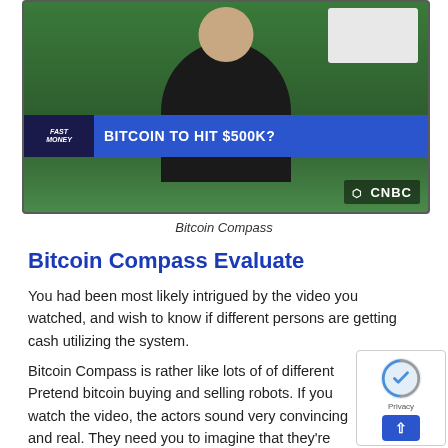[Figure (screenshot): CNBC TV broadcast screenshot showing a person in dark hoodie with the headline 'BITCOIN TO HIT $500K?' displayed in a blue ticker bar with CNBC logo visible]
Bitcoin Compass
Bitcoin Compass Evaluate
You had been most likely intrigued by the video you watched, and wish to know if different persons are getting cash utilizing the system.
Bitcoin Compass is rather like lots of of different Pretend bitcoin buying and selling robots. If you watch the video, the actors sound very convincing and real. They need you to imagine that they’re someway linked to actual Bitcoin buying and selling, however when you signup, you may be directed to an offshore Forex exchange Forex Broker, with no indicators.